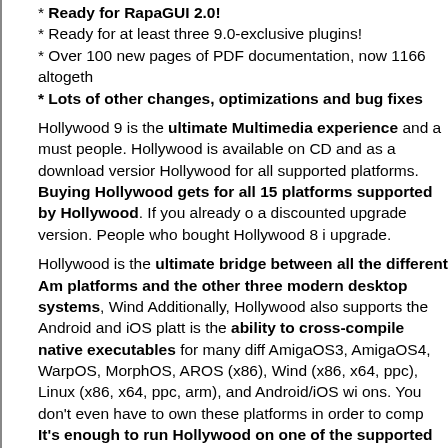* Ready for RapaGUI 2.0!
* Ready for at least three 9.0-exclusive plugins!
* Over 100 new pages of PDF documentation, now 1166 altogether
* Lots of other changes, optimizations and bug fixes
Hollywood 9 is the ultimate Multimedia experience and a must for people. Hollywood is available on CD and as a download version of Hollywood for all supported platforms. Buying Hollywood gets for all 15 platforms supported by Hollywood. If you already own a discounted upgrade version. People who bought Hollywood 8 i upgrade.
Hollywood is the ultimate bridge between all the different Amiga platforms and the other three modern desktop systems, Wind Additionally, Hollywood also supports the Android and iOS platt is the ability to cross-compile native executables for many diff AmigaOS3, AmigaOS4, WarpOS, MorphOS, AROS (x86), Wind (x86, x64, ppc), Linux (x86, x64, ppc, arm), and Android/iOS wi ons. You don't even have to own these platforms in order to comp It's enough to run Hollywood on one of the supported platfor programs for all the others! Only Hollywood makes it possible about Hollywood, please visit the the official Hollywood portal all questions concerning Hollywood.
All this makes Hollywood The Cross-Platform Multimedia A